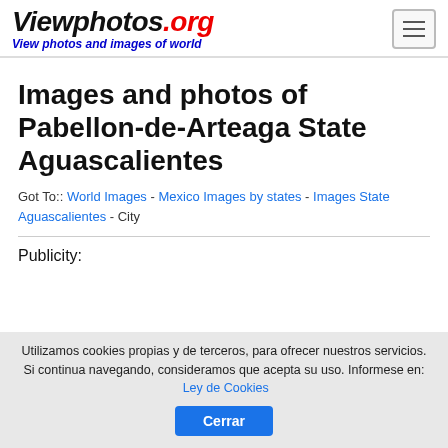Viewphotos.org — View photos and images of world
Images and photos of Pabellon-de-Arteaga State Aguascalientes
Got To:: World Images - Mexico Images by states - Images State Aguascalientes - City
Publicity:
Utilizamos cookies propias y de terceros, para ofrecer nuestros servicios. Si continua navegando, consideramos que acepta su uso. Informese en: Ley de Cookies  Cerrar